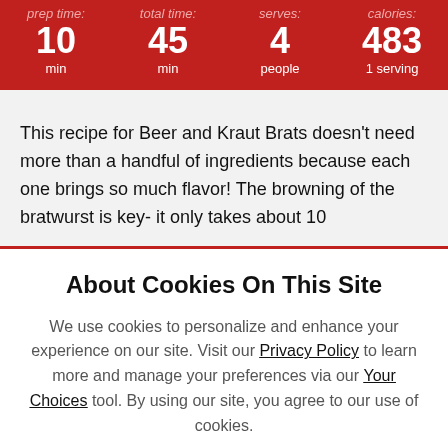prep time: 10 min | total time: 45 min | serves: 4 people | calories: 483 1 serving
This recipe for Beer and Kraut Brats doesn't need more than a handful of ingredients because each one brings so much flavor! The browning of the bratwurst is key- it only takes about 10
About Cookies On This Site
We use cookies to personalize and enhance your experience on our site. Visit our Privacy Policy to learn more and manage your preferences via our Your Choices tool. By using our site, you agree to our use of cookies.
I ACCEPT
OPTIONS